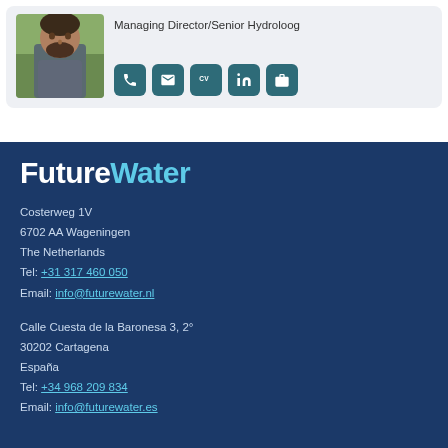[Figure (photo): Portrait photo of a man with a beard outdoors]
Managing Director/Senior Hydroloog
[Figure (other): Row of icon buttons: phone, email, CV, LinkedIn, briefcase]
[Figure (logo): FutureWater company logo in white and blue text]
Costerweg 1V
6702 AA Wageningen
The Netherlands
Tel: +31 317 460 050
Email: info@futurewater.nl
Calle Cuesta de la Baronesa 3, 2°
30202 Cartagena
España
Tel: +34 968 209 834
Email: info@futurewater.es